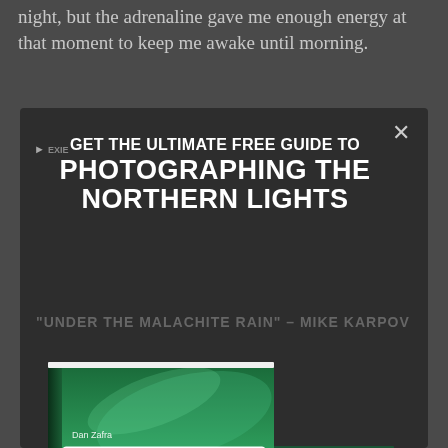night, but the adrenaline gave me enough energy at that moment to keep me awake until morning.
[Figure (screenshot): Modal popup overlay on a dark background promoting a free photography guide. Contains heading text 'GET THE ULTIMATE FREE GUIDE TO PHOTOGRAPHING THE NORTHERN LIGHTS' with an X close button, dimmed background text 'UNDER THE MALACHITE RAIN - MIKE KARPOV', and a 3D book mockup showing the book cover 'PHOTOGRAPHING THE NORTHERN LIGHTS' by Dan Zafra with subtitle 'THE ULTIMATE GUIDE' and tagline 'TRAVEL · PHOTOGRAPHY · ADVENTURE', featuring a green/teal aurora borealis image on the cover.]